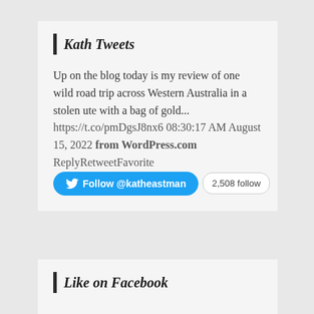Kath Tweets
Up on the blog today is my review of one wild road trip across Western Australia in a stolen ute with a bag of gold...
https://t.co/pmDgsJ8nx6 08:30:17 AM August 15, 2022 from WordPress.com ReplyRetweetFavorite
[Figure (other): Follow @katheastman button and 2,508 followers badge]
Like on Facebook